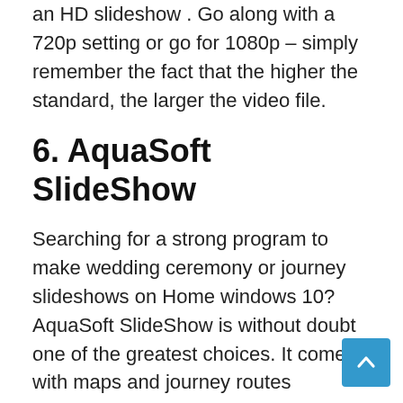an HD slideshow . Go along with a 720p setting or go for 1080p – simply remember the fact that the higher the standard, the larger the video file.
6. AquaSoft SlideShow
Searching for a strong program to make wedding ceremony or journey slideshows on Home windows 10? AquaSoft SlideShow is without doubt one of the greatest choices. It comes with maps and journey routes animations, virtually 200 textual content types, themed templates and a built-in video editor. AquaSoft additionally gives sound instruments like